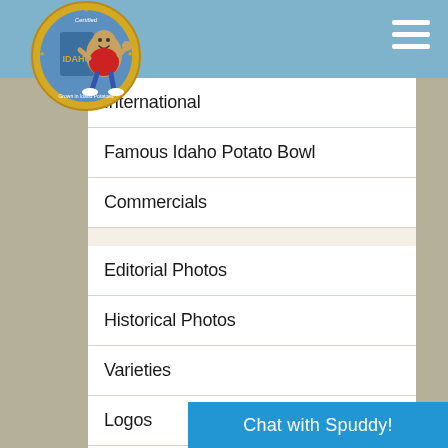[Figure (logo): Certified Idaho Potato Commission logo with cartoon potato mascot character giving thumbs up]
International
Famous Idaho Potato Bowl
Commercials
Editorial Photos
Historical Photos
Varieties
Logos
Clip Art
Chat with Spuddy!